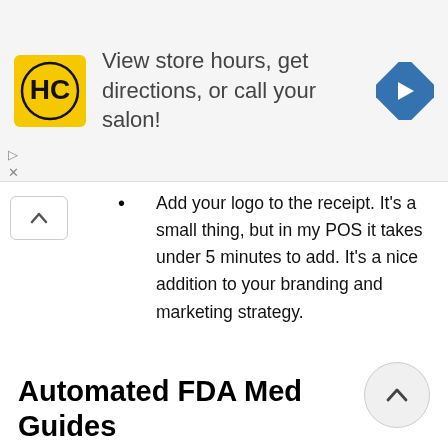[Figure (infographic): Advertisement banner for a salon business (HC logo on yellow background). Text: 'View store hours, get directions, or call your salon!' with a blue navigation arrow icon on the right. Play and close icons on the left edge.]
Add your logo to the receipt. It's a small thing, but in my POS it takes under 5 minutes to add. It's a nice addition to your branding and marketing strategy.
Automated FDA Med Guides
I hope nobody still has a file folder of med guides to line up with prescriptions (and somehow remember which m... have an FDA med guide), but I wan... include it just in case. If you're still doing